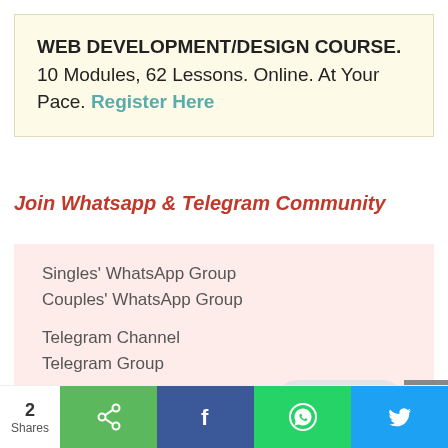WEB DEVELOPMENT/DESIGN COURSE. 10 Modules, 62 Lessons. Online. At Your Pace. Register Here
Join Whatsapp & Telegram Community
Singles' WhatsApp Group
Couples' WhatsApp Group
Telegram Channel
Telegram Group
[Figure (infographic): WhatsApp counseling widget with green WhatsApp icon and 'Counseling' text, plus a gray scroll-to-top button with upward chevron]
2 Shares — Share buttons: generic share, Facebook, WhatsApp, Twitter